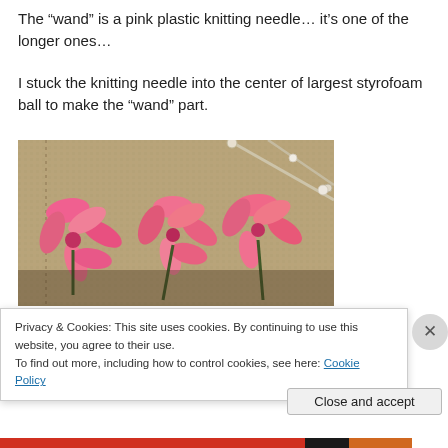The “wand” is a pink plastic knitting needle… it’s one of the longer ones…
I stuck the knitting needle into the center of largest styrofoam ball to make the “wand” part.
[Figure (photo): Photo of pink artificial flowers lying on a burlap/textured fabric surface, with knitting needles visible in the background at the top right.]
Privacy & Cookies: This site uses cookies. By continuing to use this website, you agree to their use.
To find out more, including how to control cookies, see here: Cookie Policy
Close and accept